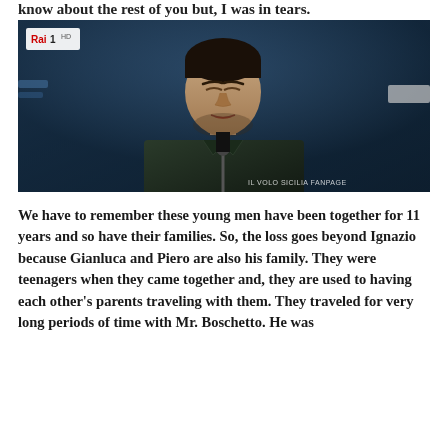know about the rest of you but, I was in tears.
[Figure (photo): A young man with dark hair, eyes closed, wearing a dark jacket, standing at a microphone on stage. The Rai 1 HD logo is visible in the upper left corner. A watermark reading 'IL VOLO SICILIA FANPAGE' appears in the lower right.]
We have to remember these young men have been together for 11 years and so have their families. So, the loss goes beyond Ignazio because Gianluca and Piero are also his family. They were teenagers when they came together and, they are used to having each other's parents traveling with them. They traveled for very long periods of time with Mr. Boschetto. He was